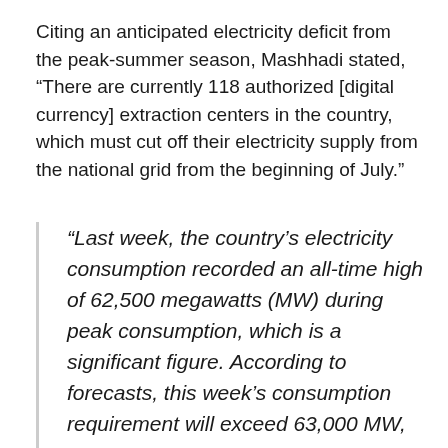Citing an anticipated electricity deficit from the peak-summer season, Mashhadi stated, “There are currently 118 authorized [digital currency] extraction centers in the country, which must cut off their electricity supply from the national grid from the beginning of July.”
“Last week, the country’s electricity consumption recorded an all-time high of 62,500 megawatts (MW) during peak consumption, which is a significant figure. According to forecasts, this week’s consumption requirement will exceed 63,000 MW, which means we must limit electricity